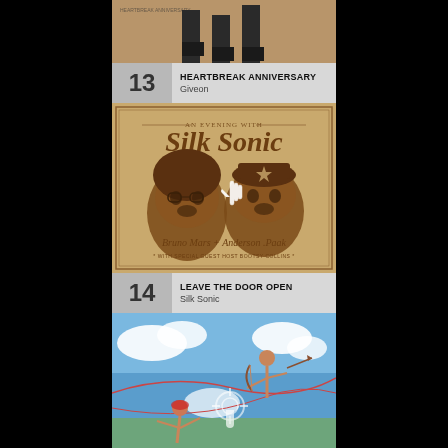[Figure (photo): Album cover art for Heartbreak Anniversary by Giveon - lower portion showing legs/boots on tan/beige background]
13  HEARTBREAK ANNIVERSARY  Giveon
[Figure (photo): Album cover art for An Evening with Silk Sonic by Bruno Mars and Anderson .Paak - retro illustrated portrait style on tan/brown background with a hand cursor icon overlay]
14  LEAVE THE DOOR OPEN  Silk Sonic
[Figure (photo): Album cover art for Leave The Door Open / Silk Sonic - mythological style painting with figures against sky with clouds, featuring a touch/tap cursor icon overlay]